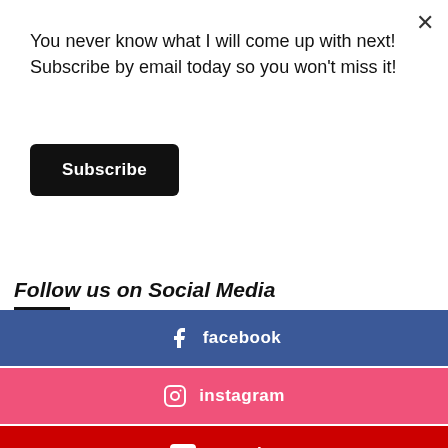You never know what I will come up with next! Subscribe by email today so you won't miss it!
Subscribe
Follow us on Social Media
[Figure (infographic): Social media follow buttons: facebook (blue), instagram (pink/red), youtube (red), spotify (black), apple podcasts (purple)]